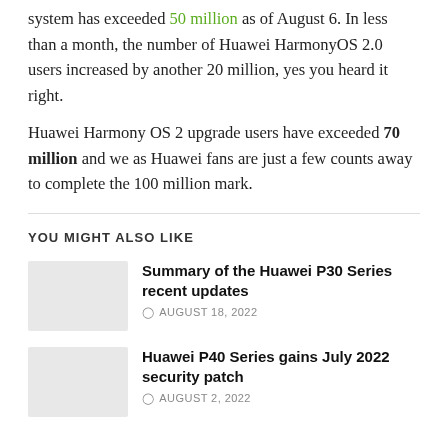system has exceeded 50 million as of August 6. In less than a month, the number of Huawei HarmonyOS 2.0 users increased by another 20 million, yes you heard it right.
Huawei Harmony OS 2 upgrade users have exceeded 70 million and we as Huawei fans are just a few counts away to complete the 100 million mark.
YOU MIGHT ALSO LIKE
Summary of the Huawei P30 Series recent updates
AUGUST 18, 2022
Huawei P40 Series gains July 2022 security patch
AUGUST 2, 2022